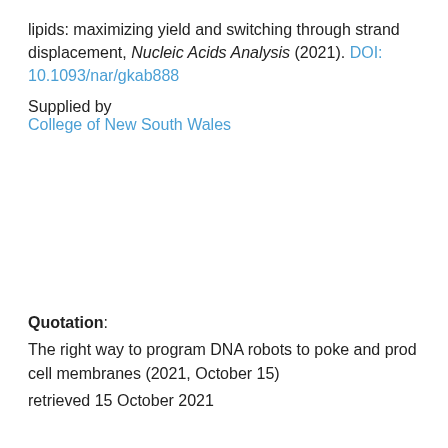lipids: maximizing yield and switching through strand displacement, Nucleic Acids Analysis (2021). DOI: 10.1093/nar/gkab888
Supplied by
College of New South Wales
Quotation: The right way to program DNA robots to poke and prod cell membranes (2021, October 15) retrieved 15 October 2021